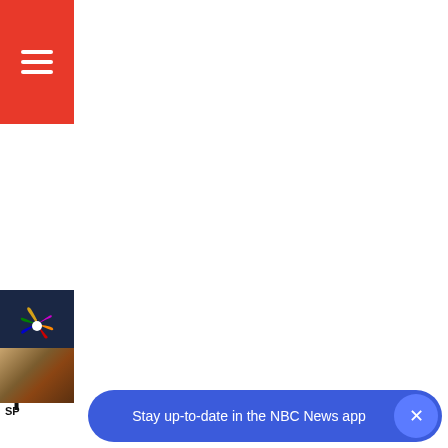[Figure (logo): Red hamburger menu button top-left corner]
[Figure (logo): NBC News peacock logo on dark navy background, first instance]
N.
T
[Figure (logo): NBC News peacock logo on dark navy background, second instance]
·
|
|
[Figure (photo): Small thumbnail photo, red barn or building]
SP
Stay up-to-date in the NBC News app